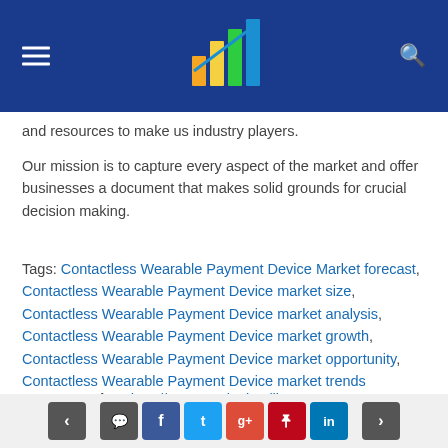[Header bar with logo, menu, search]
and resources to make us industry players.
Our mission is to capture every aspect of the market and offer businesses a document that makes solid grounds for crucial decision making.
Tags: Contactless Wearable Payment Device Market forecast, Contactless Wearable Payment Device market size, Contactless Wearable Payment Device market analysis, Contactless Wearable Payment Device market growth, Contactless Wearable Payment Device market opportunity, Contactless Wearable Payment Device market trends
See Campaign: http://www.marketintellix.com
[Navigation and social share buttons]